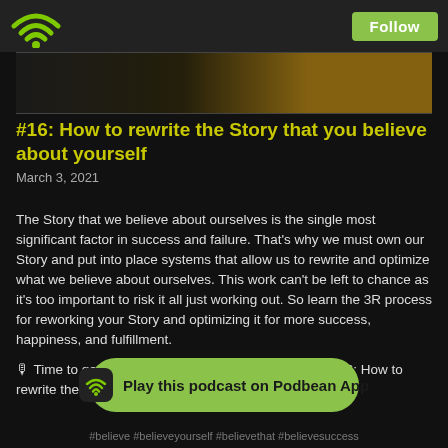Follow
[Figure (photo): Dark thumbnail image with yellow/gold tones, partial view of podcast episode artwork]
#16: How to rewrite the Story that you believe about yourself
March 3, 2021
The Story that we believe about ourselves is the single most significant factor in success and failure. That's why we must own our Story and put into place systems that allow us to rewrite and optimize what we believe about ourselves. This work can't be left to chance as it's too important to risk it all just working out. So learn the 3R process for reworking your Story and optimizing it for more success, happiness, and fulfillment.
🎙 Time to get storified in The Yellow Chair: Episode #16: How to rewrite the Story that you believe about yourself
[Figure (logo): Podbean App button - green rounded rectangle with Podbean wifi icon and text 'Play this podcast on Podbean App']
#believe #believeyourself #believethat #believesuccess